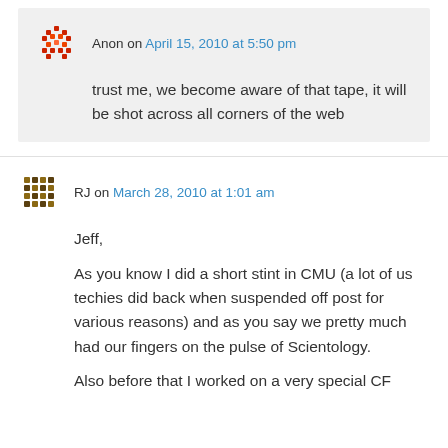Anon on April 15, 2010 at 5:50 pm
trust me, we become aware of that tape, it will be shot across all corners of the web
RJ on March 28, 2010 at 1:01 am
Jeff,

As you know I did a short stint in CMU (a lot of us techies did back when suspended off post for various reasons) and as you say we pretty much had our fingers on the pulse of Scientology.

Also before that I worked on a very special CF